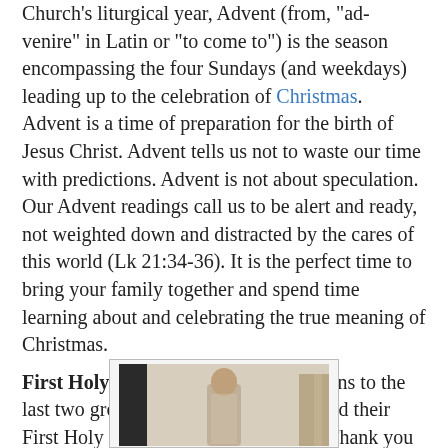Church's liturgical year, Advent (from, "ad-venire" in Latin or "to come to") is the season encompassing the four Sundays (and weekdays) leading up to the celebration of Christmas.  Advent is a time of preparation for the birth of Jesus Christ. Advent tells us not to waste our time with predictions. Advent is not about speculation. Our Advent readings call us to be alert and ready, not weighted down and distracted by the cares of this world (Lk 21:34-36). It is the perfect time to bring your family together and spend time learning about and celebrating the true meaning of Christmas.
First Holy Communion-Congratulations to the last two groups of children who received their First Holy Communion last weekend. Thank you to their families for their continued support in preparing them for this holy sacrament. Every Blessing to you all.
[Figure (photo): A photograph showing a person (possibly a priest or religious figure) standing in what appears to be a church interior with light-colored walls and a column visible.]